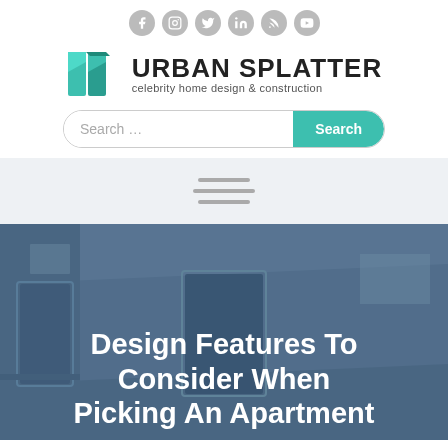[Figure (logo): Urban Splatter logo: teal geometric U shape with text 'URBAN SPLATTER' and subtitle 'celebrity home design & construction']
[Figure (screenshot): Search bar with placeholder 'Search ...' and teal Search button]
[Figure (infographic): Hamburger menu icon with three horizontal grey bars on light grey navigation bar]
[Figure (photo): Hero image of a modern apartment interior with blue-grey overlay]
Design Features To Consider When Picking An Apartment